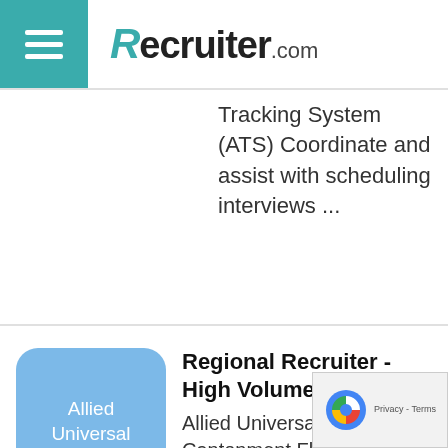Recruiter.com
Tracking System (ATS) Coordinate and assist with scheduling interviews ...
Regional Recruiter - High Volume
Allied Universal - Cantonment Florida, US (about 22 hours ago)
Allied Universal®, North America's leading security and facility services company, provides rewarding careers that give you a sense of purpose. Whi...
Senior Manager, Talent Acquisiti...
Federal Reserve Bank of Richmond - Richmond Virginia, US (about 24 hours...